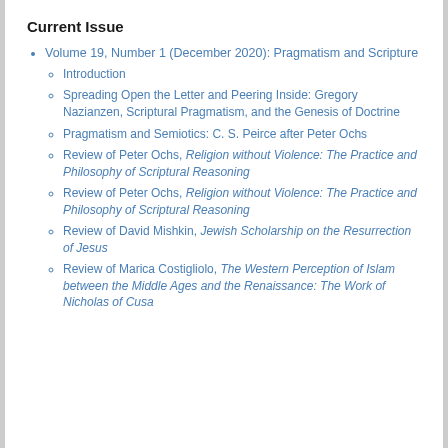Current Issue
Volume 19, Number 1 (December 2020): Pragmatism and Scripture
Introduction
Spreading Open the Letter and Peering Inside: Gregory Nazianzen, Scriptural Pragmatism, and the Genesis of Doctrine
Pragmatism and Semiotics: C. S. Peirce after Peter Ochs
Review of Peter Ochs, Religion without Violence: The Practice and Philosophy of Scriptural Reasoning
Review of Peter Ochs, Religion without Violence: The Practice and Philosophy of Scriptural Reasoning
Review of David Mishkin, Jewish Scholarship on the Resurrection of Jesus
Review of Marica Costigliolo, The Western Perception of Islam between the Middle Ages and the Renaissance: The Work of Nicholas of Cusa